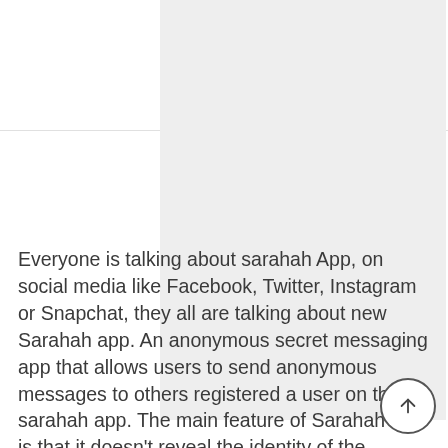[Figure (photo): Large light grey placeholder image block occupying the upper right portion of the page]
Everyone is talking about sarahah App, on social media like Facebook, Twitter, Instagram or Snapchat, they all are talking about new Sarahah app. An anonymous secret messaging app that allows users to send anonymous messages to others registered a user on the sarahah app. The main feature of Sarahah app is that it doesn’t reveal the identity of the sender of the message. Now there it is making its own unique features among all the other